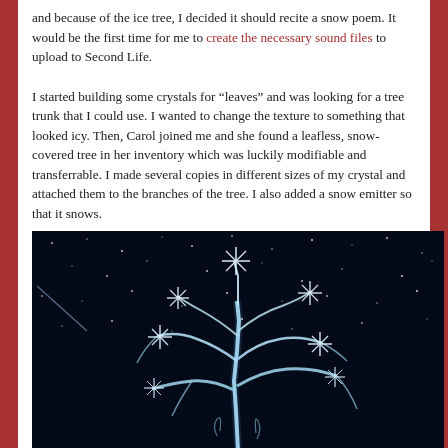and because of the ice tree, I decided it should recite a snow poem. It would be the first time for me to create the necessary sound files to upload to Second Life.
I started building some crystals for “leaves” and was looking for a tree trunk that I could use. I wanted to change the texture to something that looked icy. Then, Carol joined me and she found a leafless, snow-covered tree in her inventory which was luckily modifiable and transferrable. I made several copies in different sizes of my crystal and attached them to the branches of the tree. I also added a snow emitter so that it snows.
[Figure (photo): A glowing white/blue ice tree with crystal star-like formations on its bare branches, set against a dark night sky with scattered bright dots/stars. The tree appears to be in Second Life virtual world.]